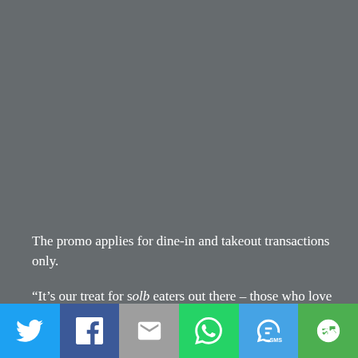The promo applies for dine-in and takeout transactions only.
“It’s our treat for solb eaters out there – those who love to indulge in Mang Inasal Chicken Inasal the way they want to – that is, with their bare hands,
[Figure (other): Social sharing bar with icons for Twitter, Facebook, Email, WhatsApp, SMS, and More]